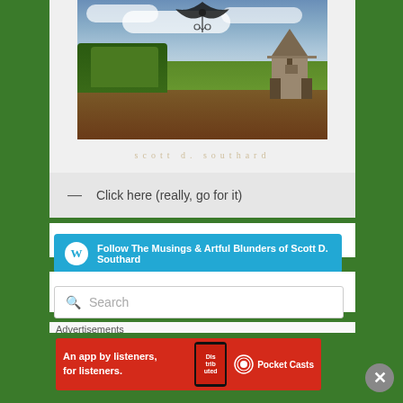[Figure (photo): Book cover for Scott D. Southard showing a church in a landscape with ornamental design at top and author name 'scott d. southard' at bottom]
— Click here (really, go for it)
Follow The Musings & Artful Blunders of Scott D. Southard
Search
Advertisements
[Figure (infographic): Pocket Casts advertisement banner: 'An app by listeners, for listeners.' on red background with phone image and Pocket Casts logo]